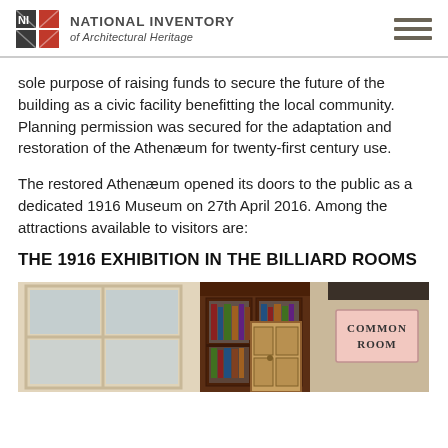National Inventory of Architectural Heritage
sole purpose of raising funds to secure the future of the building as a civic facility benefitting the local community. Planning permission was secured for the adaptation and restoration of the Athenæum for twenty-first century use.
The restored Athenæum opened its doors to the public as a dedicated 1916 Museum on 27th April 2016. Among the attractions available to visitors are:
THE 1916 EXHIBITION IN THE BILLIARD ROOMS
[Figure (photo): Interior photo showing a window with multiple panes on the left, a tall wooden bookcase/cabinet in the center with books on shelves, and a pink sign reading COMMON ROOM on the right side.]